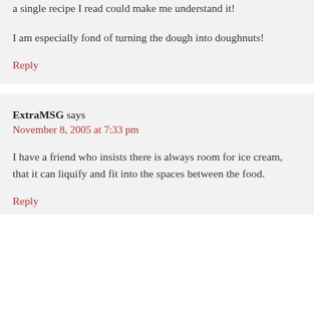a single recipe I read could make me understand it!
I am especially fond of turning the dough into doughnuts!
Reply
ExtraMSG says
November 8, 2005 at 7:33 pm
I have a friend who insists there is always room for ice cream, that it can liquify and fit into the spaces between the food.
Reply